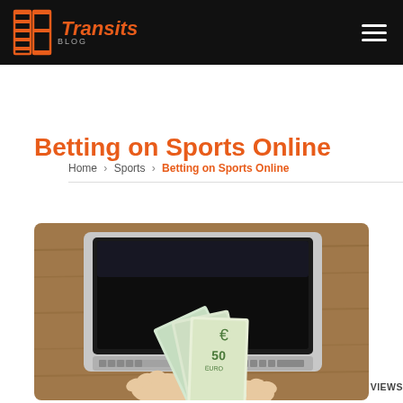Transits Blog
Home > Sports > Betting on Sports Online
Betting on Sports Online
ADMIN / JULY 20, 2020   0 VIEWS
[Figure (photo): Hands holding a fan of Euro banknotes (50 euro notes) in front of an open laptop computer on a wooden desk surface]